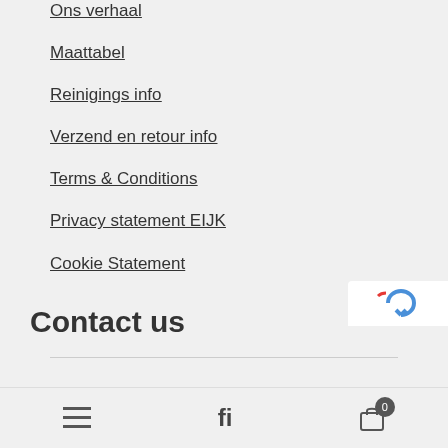Ons verhaal
Maattabel
Reinigings info
Verzend en retour info
Terms & Conditions
Privacy statement EIJK
Cookie Statement
Contact us
[Figure (other): reCAPTCHA logo partially visible in bottom right corner]
Navigation toolbar with hamburger menu, search (fi), and cart (0) icons